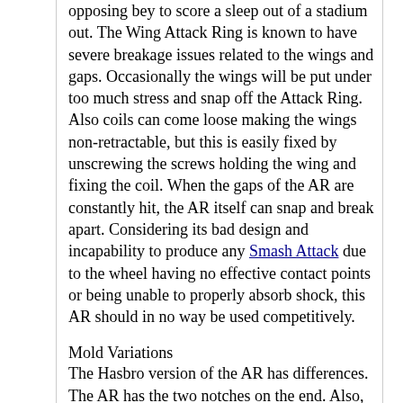opposing bey to score a sleep out of a stadium out. The Wing Attack Ring is known to have severe breakage issues related to the wings and gaps. Occasionally the wings will be put under too much stress and snap off the Attack Ring. Also coils can come loose making the wings non-retractable, but this is easily fixed by unscrewing the screws holding the wing and fixing the coil. When the gaps of the AR are constantly hit, the AR itself can snap and break apart. Considering its bad design and incapability to produce any Smash Attack due to the wheel having no effective contact points or being unable to properly absorb shock, this AR should in no way be used competitively.
Mold Variations
The Hasbro version of the AR has differences. The AR has the two notches on the end. Also, the AR has a filled in gap on the wings;this decreases breakage issues. These don't effect weight.
Weight Disk (WD): Wide
See Wide Weight Disks.